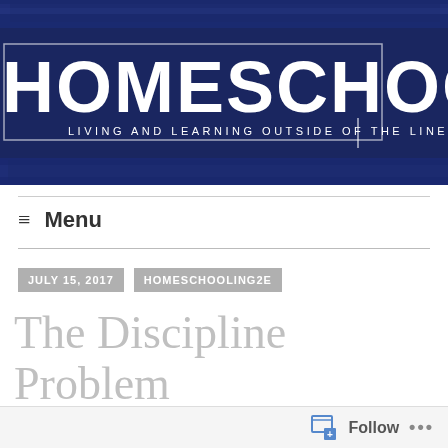[Figure (logo): Homeschooling 2E blog logo: dark navy blue brushstroke background with white text reading HOMESCHOOLING and subtitle LIVING AND LEARNING OUTSIDE OF THE LINES]
≡ Menu
JULY 15, 2017
HOMESCHOOLING2E
The Discipline Problem Part II
Follow